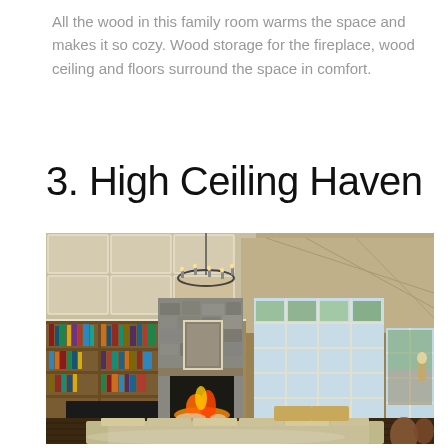All the wood in this family room warms the space and makes it so cozy. Wood storage for the fireplace, wood ceiling and floors surround the space in comfort.
3. High Ceiling Haven
[Figure (photo): Interior photo of a high-ceiling family room / living room with coffered and vaulted ceiling, large chandelier, built-in bookshelves flanking a stone fireplace with burning fire, flat screen TV, large sectional sofa, and tall windows with view of outdoor greenery.]